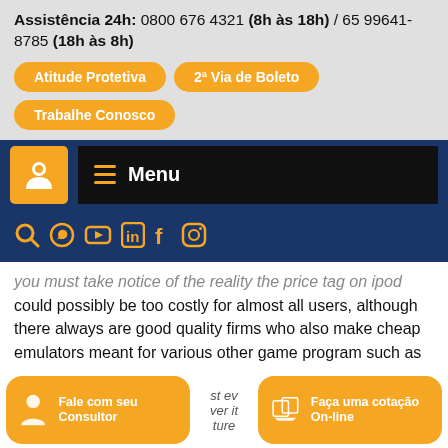Assistência 24h: 0800 676 4321 (8h às 18h) / 65 99641-8785 (18h às 8h)
Atitude Protetiva
2ª Via de Boleto
Trabalhe Conosco
[Figure (logo): Navigation bar with logo icon and Menu button]
[Figure (infographic): Social media icons row: search, WhatsApp, YouTube, LinkedIn, Facebook, Instagram]
you must take notice of the reality the price tag on ipod could possibly be too costly for almost all users, although there always are good quality firms who also make cheap emulators meant for various other game program such as the Nintendo Wii, PS3, Xbox 360 console, PSP, Wii U, and New iphone and ipad tablet.
[Figure (infographic): Two CTA buttons: 'Fale com seu Consultor' and 'Faça uma cotação On-line' with partial text 'st ev... ver it... ture' between them]